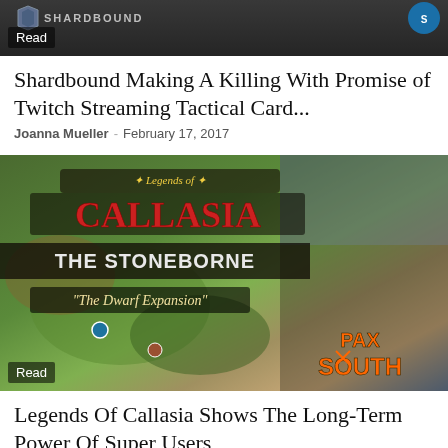[Figure (screenshot): Shardbound game banner with dark background, 'SHARDBOUND' text, and logo icons. A 'Read' label overlay in bottom left.]
Shardbound Making A Killing With Promise of Twitch Streaming Tactical Card...
Joanna Mueller - February 17, 2017
[Figure (screenshot): Legends of Callasia: The Stoneborne 'The Dwarf Expansion' game image featuring a dwarf warrior and fantasy map, with 'PAX SOUTH' badge bottom right. A 'Read' label overlay in bottom left.]
Legends Of Callasia Shows The Long-Term Power Of Super Users
Joanna Mueller - January 31, 2017